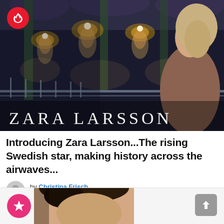[Figure (photo): Promotional photo of Zara Larsson in a brown ribbed dress standing in an ornate venue with chandeliers. Text 'ZARA LARSSON' overlaid at bottom left. Fire icon badge in top left corner.]
Introducing Zara Larsson...The rising Swedish star, making history across the airwaves...
by Christina Frisch
13th April 2017, 12:07 pm
[Figure (photo): Partial view of a woman's face/hair at the bottom of the page, cropped. Pink star badge and grey scroll-to-top button visible.]